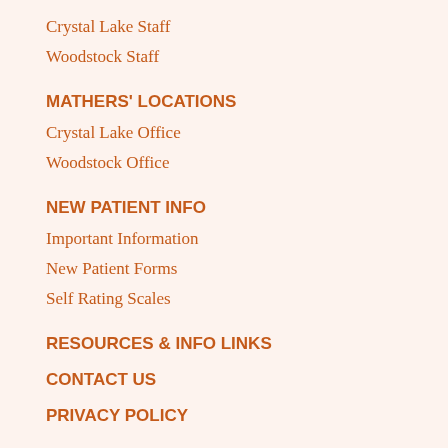Crystal Lake Staff
Woodstock Staff
MATHERS' LOCATIONS
Crystal Lake Office
Woodstock Office
NEW PATIENT INFO
Important Information
New Patient Forms
Self Rating Scales
RESOURCES & INFO LINKS
CONTACT US
PRIVACY POLICY